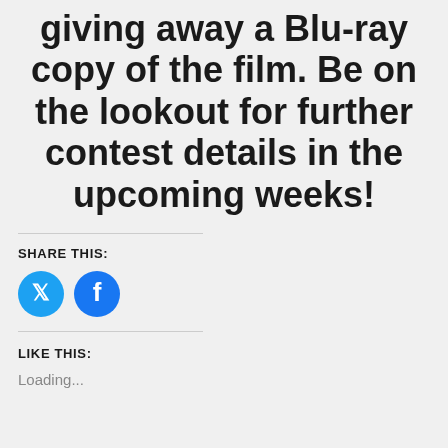giving away a Blu-ray copy of the film. Be on the lookout for further contest details in the upcoming weeks!
SHARE THIS:
[Figure (infographic): Twitter and Facebook circular share buttons in blue]
LIKE THIS:
Loading...